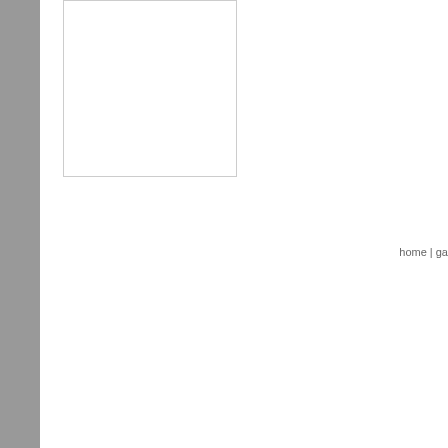[Figure (other): Gray sidebar panel on left side of page]
[Figure (other): White rectangular box with light border, possibly an image placeholder]
home | ga